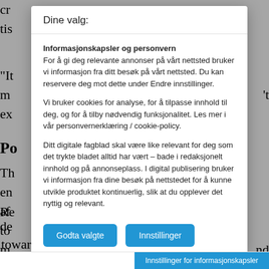cr
tis
"It
m
ex
Po
Th
en
af
to
m
co
Re
de
towards a medicine will be to de
Dine valg:
Informasjonskapsler og personvern
For å gi deg relevante annonser på vårt nettsted bruker vi informasjon fra ditt besøk på vårt nettsted. Du kan reservere deg mot dette under Endre innstillinger.

Vi bruker cookies for analyse, for å tilpasse innhold til deg, og for å tilby nødvendig funksjonalitet. Les mer i vår personvernerklæring / cookie-policy.

Ditt digitale fagblad skal være like relevant for deg som det trykte bladet alltid har vært – bade i redaksjonelt innhold og på annonseplass. I digital publisering bruker vi informasjon fra dine besøk på nettstedet for å kunne utvikle produktet kontinuerlig, slik at du opplever det nyttig og relevant.
Godta valgte
Innstillinger
Innstillinger for informasjonskapsler